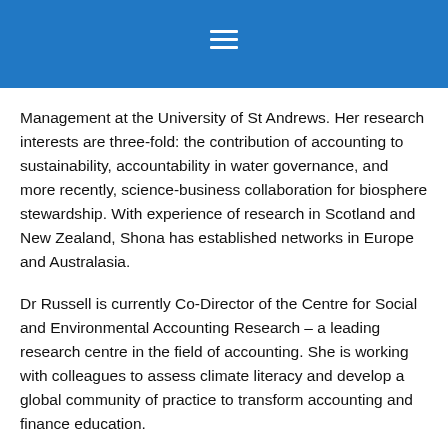[Figure (other): Blue navigation header bar with hamburger menu icon (three horizontal white lines) centered at top]
Management at the University of St Andrews. Her research interests are three-fold: the contribution of accounting to sustainability, accountability in water governance, and more recently, science-business collaboration for biosphere stewardship. With experience of research in Scotland and New Zealand, Shona has established networks in Europe and Australasia.
Dr Russell is currently Co-Director of the Centre for Social and Environmental Accounting Research – a leading research centre in the field of accounting. She is working with colleagues to assess climate literacy and develop a global community of practice to transform accounting and finance education.